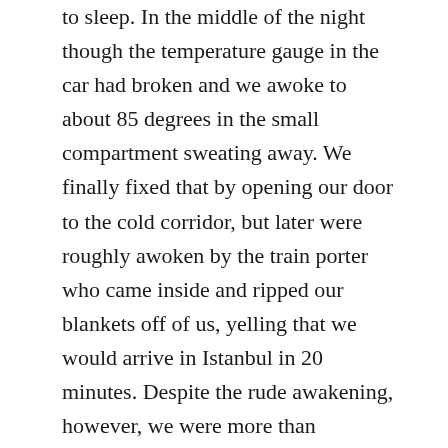to sleep. In the middle of the night though the temperature gauge in the car had broken and we awoke to about 85 degrees in the small compartment sweating away. We finally fixed that by opening our door to the cold corridor, but later were roughly awoken by the train porter who came inside and ripped our blankets off of us, yelling that we would arrive in Istanbul in 20 minutes. Despite the rude awakening, however, we were more than overjoyed to see the familiar skyline of Istanbul 15 hours after we had boarded that first train in Bourgas.
Needless to say, Christmas morning was eventful and Caitlin and I will never forget